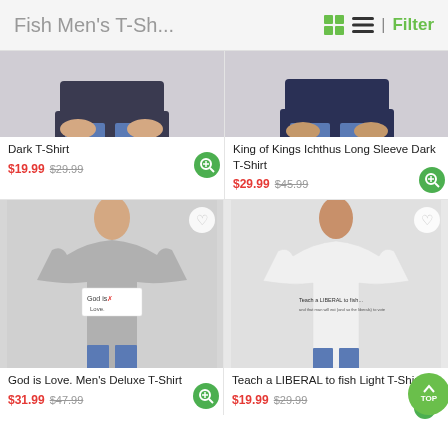Fish Men's T-Sh... | Filter
[Figure (photo): Partial torso of person wearing a dark navy t-shirt, top portion cropped]
[Figure (photo): Partial torso of person wearing a dark navy long sleeve t-shirt, top portion cropped]
Dark T-Shirt
$19.99  $29.99
King of Kings Ichthus Long Sleeve Dark T-Shirt
$29.99  $45.99
[Figure (photo): Man wearing a gray t-shirt with 'God is Love' text and colorful Ichthus fish design]
[Figure (photo): Man wearing a white t-shirt with 'Teach a LIBERAL to fish...' text]
God is Love. Men's Deluxe T-Shirt
$31.99  $47.99
Teach a LIBERAL to fish Light T-Shirt
$19.99  $29.99